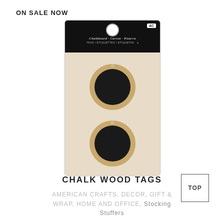ON SALE NOW
[Figure (photo): Product photo of Chalk Wood Tags in retail packaging. Black header with hanger hole, brand name in white italic. Two round wood tags with black chalkboard centers on tan/beige card background.]
CHALK WOOD TAGS
TOP
AMERICAN CRAFTS, DECOR, GIFT & WRAP, HOME AND OFFICE, Stocking Stuffers